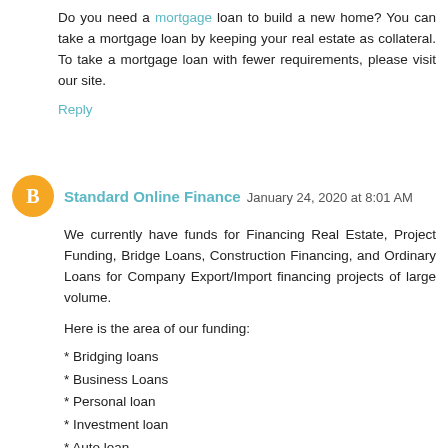Do you need a mortgage loan to build a new home? You can take a mortgage loan by keeping your real estate as collateral. To take a mortgage loan with fewer requirements, please visit our site.
Reply
Standard Online Finance  January 24, 2020 at 8:01 AM
We currently have funds for Financing Real Estate, Project Funding, Bridge Loans, Construction Financing, and Ordinary Loans for Company Export/Import financing projects of large volume.
Here is the area of our funding:
* Bridging loans
* Business Loans
* Personal loan
* Investment loan
* Auto loan
* Construction loans